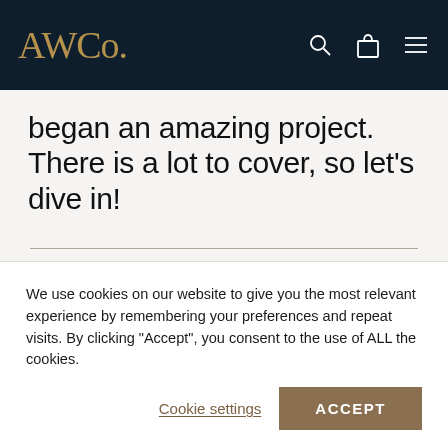AWCo.
began an amazing project. There is a lot to cover, so let's dive in!
By Thomas van Straaten on 4 August 2020
We use cookies on our website to give you the most relevant experience by remembering your preferences and repeat visits. By clicking “Accept”, you consent to the use of ALL the cookies.
Cookie settings
ACCEPT